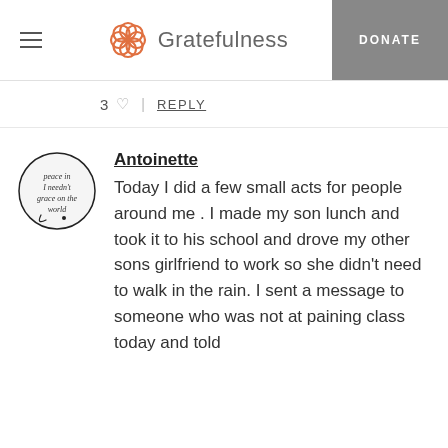Gratefulness
3 ♡  |  REPLY
[Figure (illustration): Circular avatar with handwritten text reading 'peace in / I needn't / grace on the / world']
Antoinette
Today I did a few small acts for people around me . I made my son lunch and took it to his school and drove my other sons girlfriend to work so she didn't need to walk in the rain. I sent a message to someone who was not at paining class today and told